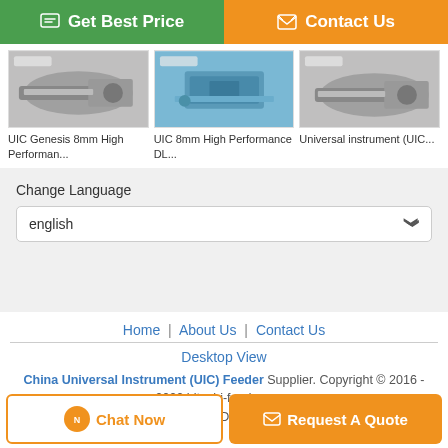[Figure (screenshot): Green 'Get Best Price' button and orange 'Contact Us' button at top]
[Figure (photo): Three product images: UIC Genesis 8mm High Performance feeder, UIC 8mm High Performance DL feeder, Universal instrument (UIC) feeder]
UIC Genesis 8mm High Performan...
UIC 8mm High Performance DL...
Universal instrument (UIC...
Change Language
english
Home | About Us | Contact Us
Desktop View
China Universal Instrument (UIC) Feeder Supplier. Copyright © 2016 - 2022 hitachi-feeder.com. All rights reserved. Developed by ECER
[Figure (screenshot): Bottom buttons: 'Chat Now' and 'Request A Quote']